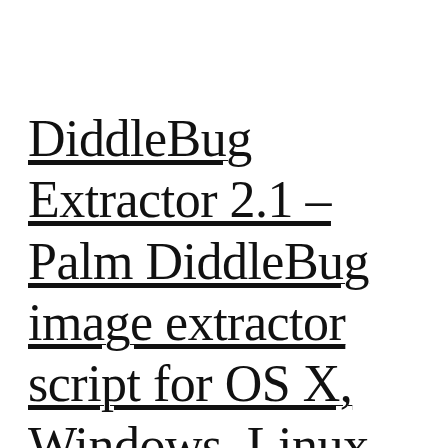DiddleBug Extractor 2.1 – Palm DiddleBug image extractor script for OS X, Windows, Linux (Replaces Didcon 2.0)